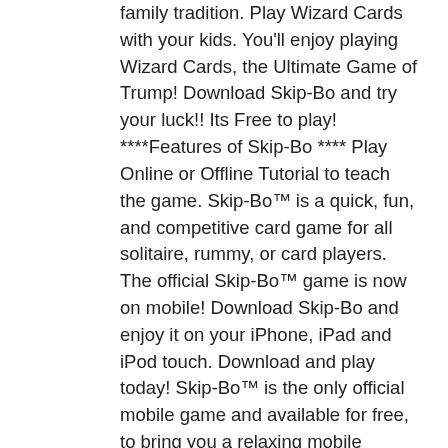family tradition. Play Wizard Cards with your kids. You'll enjoy playing Wizard Cards, the Ultimate Game of Trump! Download Skip-Bo and try your luck!! Its Free to play! ****Features of Skip-Bo **** Play Online or Offline Tutorial to teach the game. Skip-Bo™ is a quick, fun, and competitive card game for all solitaire, rummy, or card players. The official Skip-Bo™ game is now on mobile! Download Skip-Bo and enjoy it on your iPhone, iPad and iPod touch. Download and play today! Skip-Bo™ is the only official mobile game and available for free, to bring you a relaxing mobile experience that can be enjoyed by anybody, anywhere, and anytime. Skip-Bo™ Play Skip-Bo™ with family and friends, this is a card game for every occasion. Follow us for more updates. Facebook: www.facebook.com/SkipBoMobile/